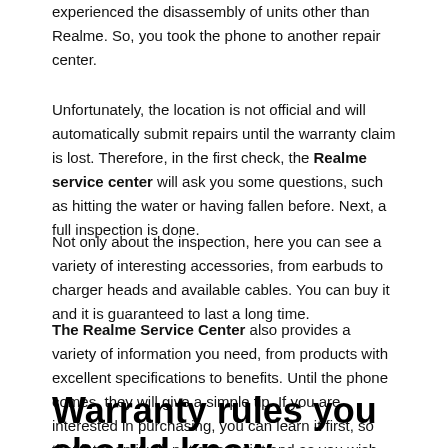experienced the disassembly of units other than Realme. So, you took the phone to another repair center.
Unfortunately, the location is not official and will automatically submit repairs until the warranty claim is lost. Therefore, in the first check, the Realme service center will ask you some questions, such as hitting the water or having fallen before. Next, a full inspection is done.
Not only about the inspection, here you can see a variety of interesting accessories, from earbuds to charger heads and available cables. You can buy it and it is guaranteed to last a long time.
The Realme Service Center also provides a variety of information you need, from products with excellent specifications to benefits. Until the phone comes, they will give a simple tip. If you are interested in purchasing, you can learn it first, so that later on it will not disappoint and as you wish.
Warranty rules you should know